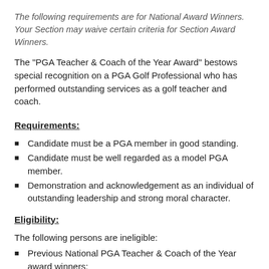The following requirements are for National Award Winners. Your Section may waive certain criteria for Section Award Winners.
The "PGA Teacher & Coach of the Year Award" bestows special recognition on a PGA Golf Professional who has performed outstanding services as a golf teacher and coach.
Requirements:
Candidate must be a PGA member in good standing.
Candidate must be well regarded as a model PGA member.
Demonstration and acknowledgement as an individual of outstanding leadership and strong moral character.
Eligibility:
The following persons are ineligible:
Previous National PGA Teacher & Coach of the Year award winners;
Past Presidents of the Association;